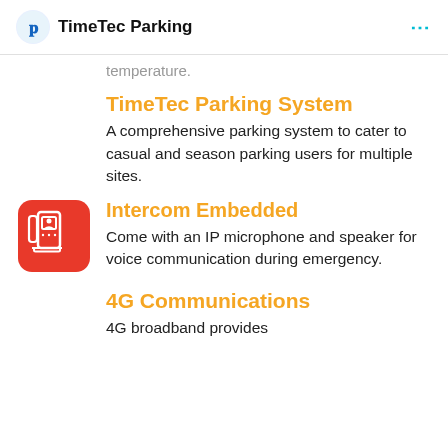TimeTec Parking
temperature.
TimeTec Parking System
A comprehensive parking system to cater to casual and season parking users for multiple sites.
[Figure (illustration): Red rounded-square icon with white intercom/phone device graphic]
Intercom Embedded
Come with an IP microphone and speaker for voice communication during emergency.
4G Communications
4G broadband provides